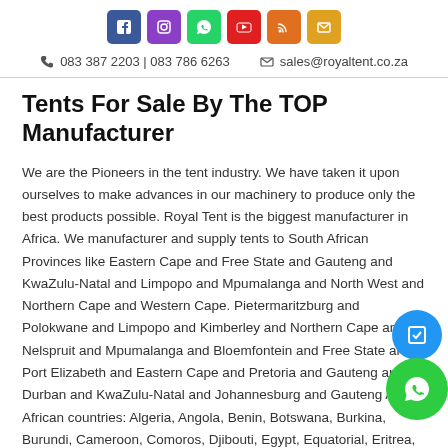Social icons: Facebook, Instagram, WhatsApp, YouTube, RSS, Email | 083 387 2203 | 083 786 6263 | sales@royaltent.co.za
Tents For Sale By The TOP Manufacturer
We are the Pioneers in the tent industry. We have taken it upon ourselves to make advances in our machinery to produce only the best products possible. Royal Tent is the biggest manufacturer in Africa. We manufacturer and supply tents to South African Provinces like Eastern Cape and Free State and Gauteng and KwaZulu-Natal and Limpopo and Mpumalanga and North West and Northern Cape and Western Cape. Pietermaritzburg and Polokwane and Limpopo and Kimberley and Northern Cape and Nelspruit and Mpumalanga and Bloemfontein and Free State and Port Elizabeth and Eastern Cape and Pretoria and Gauteng and Durban and KwaZulu-Natal and Johannesburg and Gauteng And African countries: Algeria, Angola, Benin, Botswana, Burkina, Burundi, Cameroon, Comoros, Djibouti, Egypt, Equatorial, Eritrea, Ethiopia, Gabon, Gambia, Mauritania, Mauritius, Morocco, Mozambique, Namibia, Niger, Nigeria,